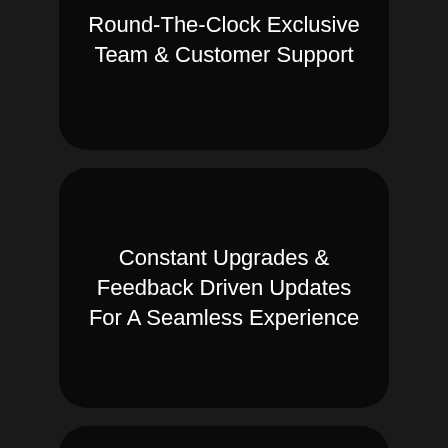Round-The-Clock Exclusive Team & Customer Support
Constant Upgrades & Feedback Driven Updates For A Seamless Experience